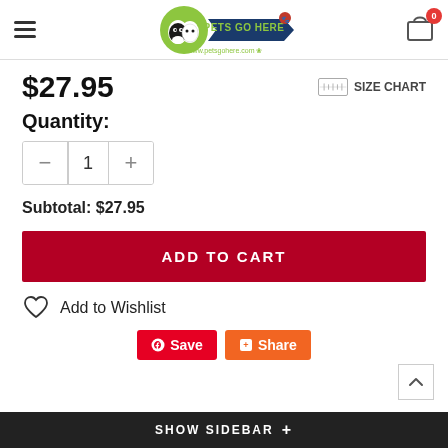[Figure (logo): Pets Go Here logo with dog and cat illustration, green circle, blue banner, paw print icon, and website www.petsgohere.com]
$27.95
SIZE CHART
Quantity:
1
Subtotal: $27.95
ADD TO CART
Add to Wishlist
Save
Share
SHOW SIDEBAR +